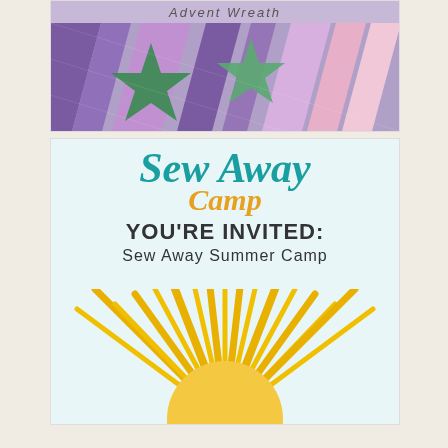[Figure (photo): Top portion of a quilted fabric in purple, pink, and green colors with text 'Advent Wreath' partially visible at the top]
[Figure (illustration): Sew Away Summer Camp invitation graphic with teal script 'Sew Away', gold script 'Camp', bold text 'YOU'RE INVITED: Sew Away Summer Camp', and a large yellow sun rising graphic on light blue background]